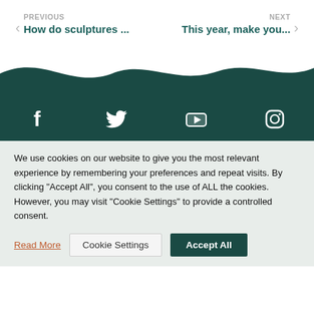PREVIOUS
How do sculptures ...
NEXT
This year, make you...
[Figure (illustration): Dark teal wave shape divider between navigation and footer social bar]
[Figure (infographic): Social media icons bar on dark teal background: Facebook, Twitter, YouTube, Instagram]
We use cookies on our website to give you the most relevant experience by remembering your preferences and repeat visits. By clicking “Accept All”, you consent to the use of ALL the cookies. However, you may visit "Cookie Settings" to provide a controlled consent.
Read More
Cookie Settings
Accept All